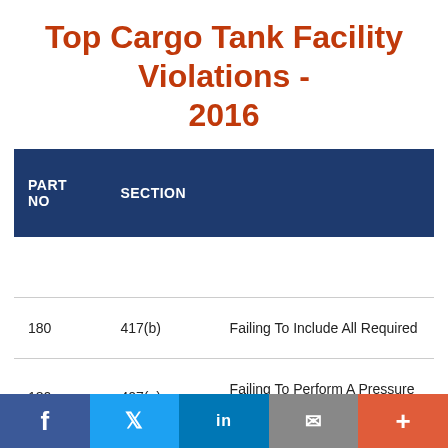Top Cargo Tank Facility Violations - 2016
| PART NO | SECTION |  |
| --- | --- | --- |
| 180 | 417(b) | Failing To Include All Required |
| 180 | 407(g) | Failing To Perform A Pressure P |
| 172 | 704(c)(2) | Failing To Retrain Hazmat Emp |
| 172 | 704(b) | Failing... |
f  Twitter  in  Email  +